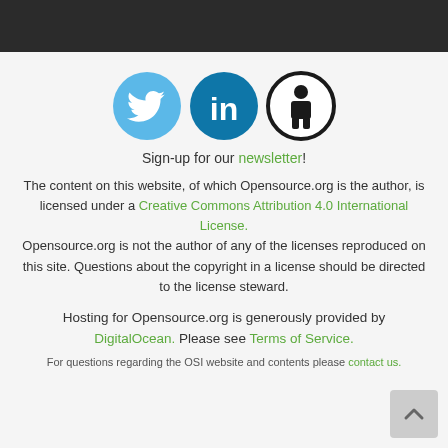[Figure (logo): Three social/info icons: Twitter (light blue circle with bird), LinkedIn (dark blue circle with 'in'), and Creative Commons Attribution person icon (black circle with person silhouette)]
Sign-up for our newsletter!
The content on this website, of which Opensource.org is the author, is licensed under a Creative Commons Attribution 4.0 International License. Opensource.org is not the author of any of the licenses reproduced on this site. Questions about the copyright in a license should be directed to the license steward.
Hosting for Opensource.org is generously provided by DigitalOcean. Please see Terms of Service.
For questions regarding the OSI website and contents please contact us.